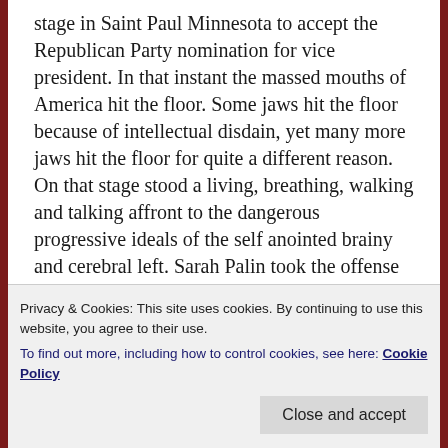stage in Saint Paul Minnesota to accept the Republican Party nomination for vice president. In that instant the massed mouths of America hit the floor. Some jaws hit the floor because of intellectual disdain, yet many more jaws hit the floor for quite a different reason. On that stage stood a living, breathing, walking and talking affront to the dangerous progressive ideals of the self anointed brainy and cerebral left. Sarah Palin took the offense and instantly became our warrior, an effective thorn in the side of the pretentiously puffed up liberals. She proved that women didn't have to divorce their husbands and have abortions to be
Privacy & Cookies: This site uses cookies. By continuing to use this website, you agree to their use. To find out more, including how to control cookies, see here: Cookie Policy
Close and accept